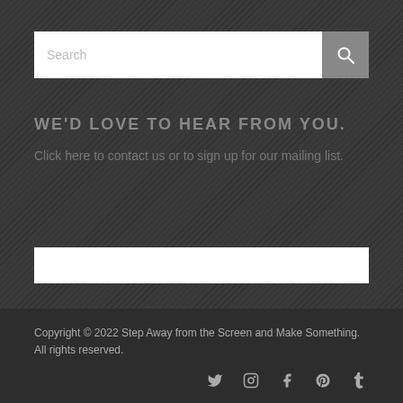[Figure (screenshot): Search bar with text input field and grey search button with magnifying glass icon]
WE'D LOVE TO HEAR FROM YOU.
Click here to contact us or to sign up for our mailing list.
[Figure (other): White horizontal bar/widget area]
Copyright © 2022 Step Away from the Screen and Make Something. All rights reserved.